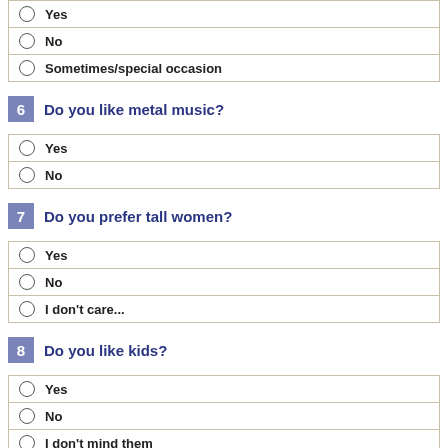Yes
No
Sometimes/special occasion
6  Do you like metal music?
Yes
No
7  Do you prefer tall women?
Yes
No
I don't care...
8  Do you like kids?
Yes
No
I don't mind them